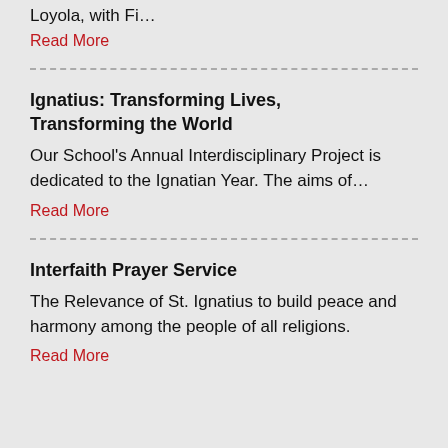Loyola, with Fi…
Read More
Ignatius: Transforming Lives, Transforming the World
Our School's Annual Interdisciplinary Project is dedicated to the Ignatian Year. The aims of…
Read More
Interfaith Prayer Service
The Relevance of St. Ignatius to build peace and harmony among the people of all religions.
Read More